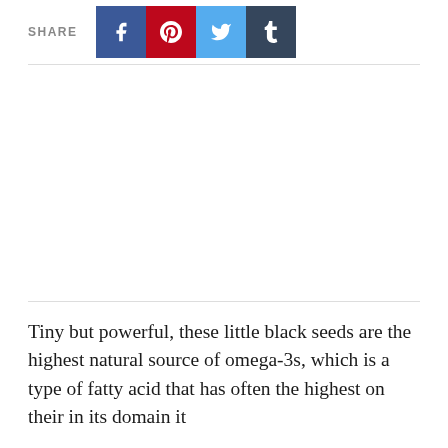SHARE
[Figure (other): Large white/blank image area in the center of the page]
Tiny but powerful, these little black seeds are the highest natural source of omega-3s, which is a type of fatty acid that has often the highest on their in its domain it...